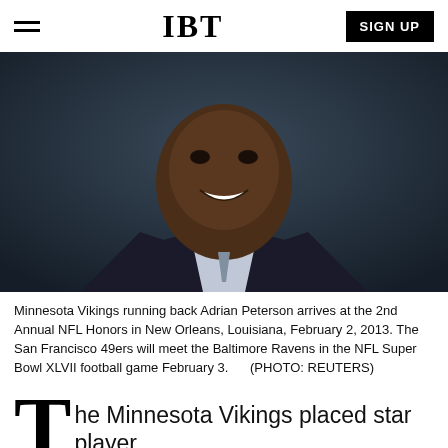IBT
[Figure (photo): Portrait photo of Adrian Peterson, Minnesota Vikings running back, smiling, wearing a suit, at the 2nd Annual NFL Honors event in New Orleans.]
Minnesota Vikings running back Adrian Peterson arrives at the 2nd Annual NFL Honors in New Orleans, Louisiana, February 2, 2013. The San Francisco 49ers will meet the Baltimore Ravens in the NFL Super Bowl XLVII football game February 3.      (PHOTO: REUTERS)
The Minnesota Vikings placed star player Adrian Peterson on the